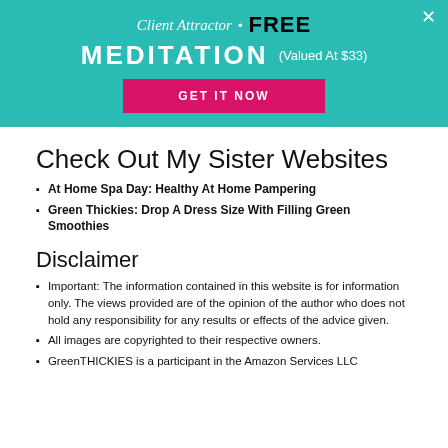[Figure (infographic): Teal banner advertisement for Client Attractor FREE MEDITATION (Valued At $33) with a pink GET IT NOW button and an X close button]
Check Out My Sister Websites
At Home Spa Day: Healthy At Home Pampering
Green Thickies: Drop A Dress Size With Filling Green Smoothies
Disclaimer
Important: The information contained in this website is for information only. The views provided are of the opinion of the author who does not hold any responsibility for any results or effects of the advice given.
All images are copyrighted to their respective owners.
GreenTHICKIES is a participant in the Amazon Services LLC